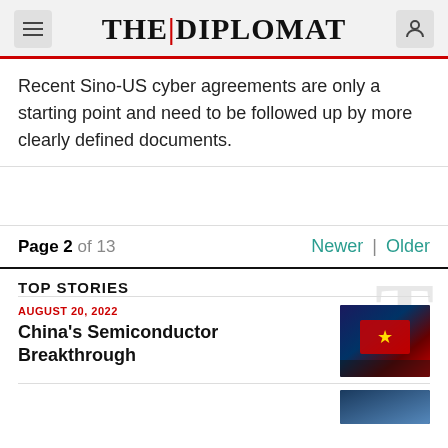THE|DIPLOMAT
Recent Sino-US cyber agreements are only a starting point and need to be followed up by more clearly defined documents.
Page 2 of 13   Newer | Older
TOP STORIES
AUGUST 20, 2022
China's Semiconductor Breakthrough